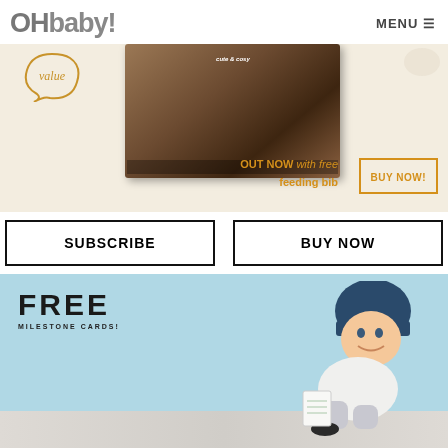OHbaby! MENU
[Figure (photo): OHbaby! magazine advertisement banner with magazine cover showing a baby in cozy knit clothing, with a 'value' bubble and text 'OUT NOW with free feeding bib' and a 'BUY NOW!' button]
SUBSCRIBE
BUY NOW
[Figure (photo): Advertisement showing a baby lying on a patterned mat wearing a navy cap and white outfit, with text 'FREE MILESTONE CARDS!' on a light blue background]